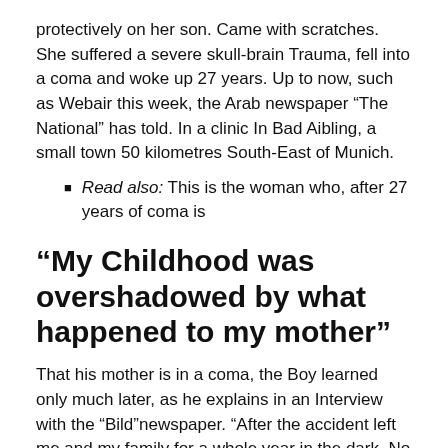protectively on her son. Came with scratches. She suffered a severe skull-brain Trauma, fell into a coma and woke up 27 years. Up to now, such as Webair this week, the Arab newspaper “The National” has told. In a clinic In Bad Aibling, a small town 50 kilometres South-East of Munich.
Read also: This is the woman who, after 27 years of coma is
“My Childhood was overshadowed by what happened to my mother”
That his mother is in a coma, the Boy learned only much later, as he explains in an Interview with the “Bild”newspaper. “After the accident left me and my family for a whole year in the dark. No one told me